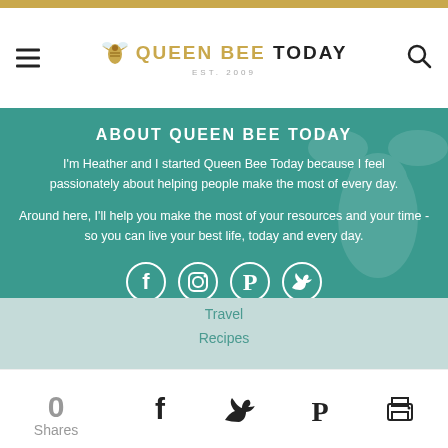Queen Bee Today — Est. 2009
ABOUT QUEEN BEE TODAY
I'm Heather and I started Queen Bee Today because I feel passionately about helping people make the most of every day.
Around here, I'll help you make the most of your resources and your time - so you can live your best life, today and every day.
[Figure (infographic): Social media icons row: Facebook, Instagram, Pinterest, Twitter — white circles on teal background]
POPULAR TOPICS
Online Deals
Travel
Recipes
0 Shares — Facebook, Twitter, Pinterest, Print share buttons